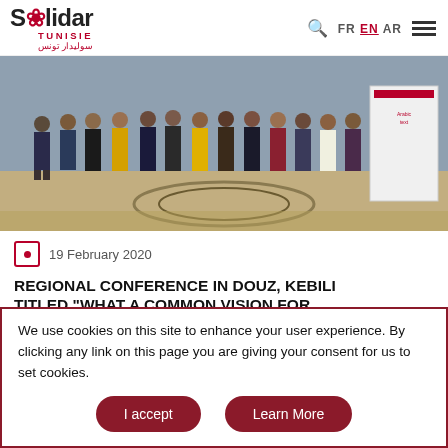Solidar Tunisie — FR EN AR
[Figure (photo): Group photo of conference participants standing indoors in front of a banner with Arabic text, on a decorative tiled floor.]
19 February 2020
REGIONAL CONFERENCE IN DOUZ, KEBILI TITLED "WHAT A COMMON VISION FOR
We use cookies on this site to enhance your user experience. By clicking any link on this page you are giving your consent for us to set cookies.